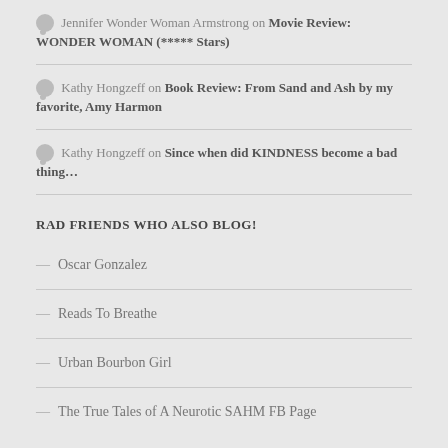Jennifer Wonder Woman Armstrong on Movie Review: WONDER WOMAN (***** Stars)
Kathy Hongzeff on Book Review: From Sand and Ash by my favorite, Amy Harmon
Kathy Hongzeff on Since when did KINDNESS become a bad thing…
RAD FRIENDS WHO ALSO BLOG!
Oscar Gonzalez
Reads To Breathe
Urban Bourbon Girl
The True Tales of A Neurotic SAHM FB Page